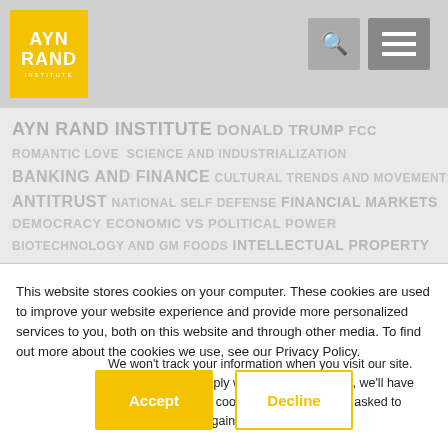[Figure (logo): Ayn Rand Institute logo — yellow square with AYN RAND text and INSTITUTE below]
AYN RAND INSTITUTE DONALD TRUMP FCC ROMANTIC LOVE SCIENCE AND INDUSTRIALIZATION BANKING AND FINANCE CULTURAL TRENDS AND MOVEMENTS ANTITRUST NATIONAL SELF DEFENSE FINANCIAL MARKETS DEMOCRACY ECONOMIC VS POLITICAL POWER BIOTECHNOLOGY AND GM FOODS INTELLECTUAL PROPERTY
This website stores cookies on your computer. These cookies are used to improve your website experience and provide more personalized services to you, both on this website and through other media. To find out more about the cookies we use, see our Privacy Policy.
We won't track your information when you visit our site. But in order to comply with your preferences, we'll have to use just one tiny cookie so that you're not asked to make this choice again.